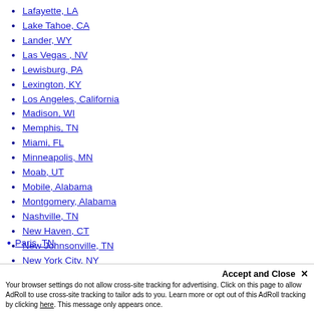Lafayette, LA
Lake Tahoe, CA
Lander, WY
Las Vegas , NV
Lewisburg, PA
Lexington, KY
Los Angeles, California
Madison, WI
Memphis, TN
Miami, FL
Minneapolis, MN
Moab, UT
Mobile, Alabama
Montgomery, Alabama
Nashville, TN
New Haven, CT
New Johnsonville, TN
New York City, NY
Northwest Florida, FL
Omaha, NE
Orlando, FL
Paris, TN
Your browser settings do not allow cross-site tracking for advertising. Click on this page to allow AdRoll to use cross-site tracking to tailor ads to you. Learn more or opt out of this AdRoll tracking by clicking here. This message only appears once.